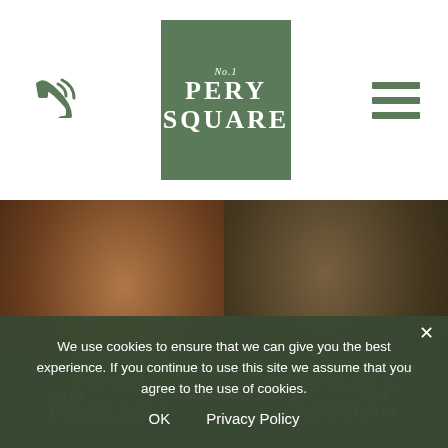[Figure (logo): Phone icon (green handset with signal waves) on left, No.1 Pery Square green logo box in center, hamburger menu icon (3 green lines) on right — website header navigation]
[Figure (photo): Two-panel spa image grid: left panel shows close-up of a person's face/neck with text 'VOYA FACIALS', right panel shows person with seaweed hair with text 'ORGANIC BATHS'. Below: two spa images of women's backs.]
We use cookies to ensure that we can give you the best experience. If you continue to use this site we assume that you agree to the use of cookies.
OK   Privacy Policy